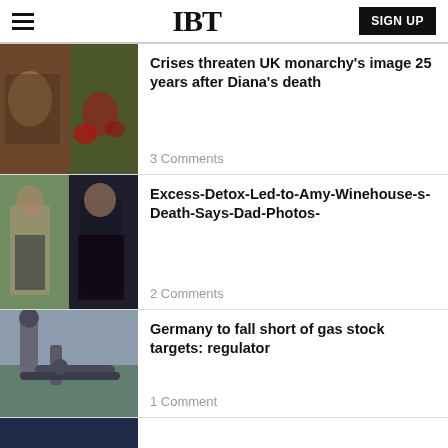IBT
[Figure (photo): Flowers and candles memorial photo for Diana]
Crises threaten UK monarchy's image 25 years after Diana's death
3 Comments
[Figure (photo): Two photos of Amy Winehouse side by side]
Excess-Detox-Led-to-Amy-Winehouse-s-Death-Says-Dad-Photos-
2 Comments
[Figure (photo): Gas pipes and equipment photo]
Germany to fall short of gas stock targets: regulator
1 Comment
[Figure (photo): Partial photo at bottom of page]